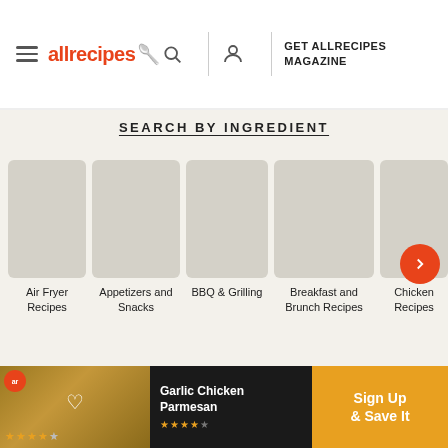allrecipes | GET ALLRECIPES MAGAZINE
SEARCH BY INGREDIENT
[Figure (screenshot): Horizontal scrollable category cards for Air Fryer Recipes, Appetizers and Snacks, BBQ & Grilling, Breakfast and Brunch Recipes, Chicken Recipes with an orange arrow navigation button]
Air Fryer Recipes
Appetizers and Snacks
BBQ & Grilling
Breakfast and Brunch Recipes
Chicken Recipes
[Figure (screenshot): Ad banner showing Garlic Chicken Parmesan with star rating, heart icon, ar logo, Sign Up & Save It CTA button]